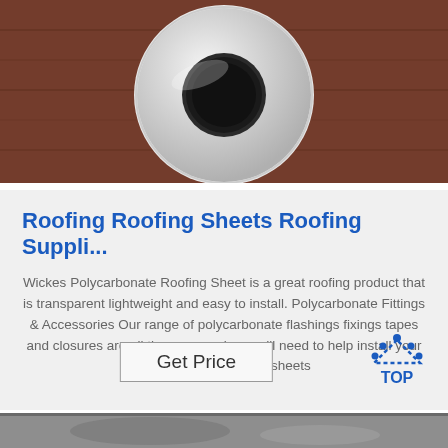[Figure (photo): Top-down photo of a circular white/silver roofing fitting (flashing or collar) with a dark round center, placed on a brown wooden surface.]
Roofing Roofing Sheets Roofing Suppli...
Wickes Polycarbonate Roofing Sheet is a great roofing product that is transparent lightweight and easy to install. Polycarbonate Fittings & Accessories Our range of polycarbonate flashings fixings tapes and closures are all the accessories you'll need to help install your polycarbonate roofing sheets
[Figure (logo): TOP logo — blue dotted triangle above the word TOP in blue bold text]
[Figure (photo): Bottom partial photo showing grey roofing material or fabric, partially visible.]